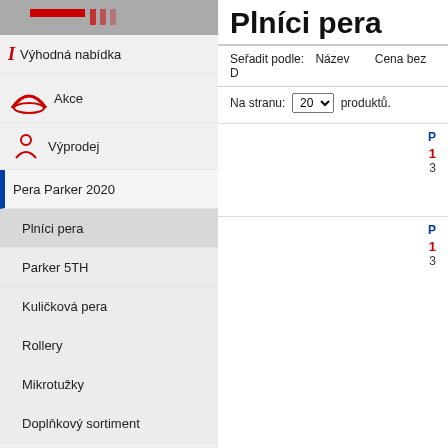[Figure (screenshot): Top banner image with red bar element]
Výhodná nabídka
Akce
Výprodej
Pera Parker 2020
Plníci pera
Parker 5TH
Kuličková pera
Rollery
Mikrotužky
Doplňkový sortiment
Výprodej Parker
Pera Waterman 2020
Pera Lamy
Plníci pera
Kuličková pera
Plníci pera
Seřadit podle:  Název    Cena bez D
Na stranu: 20 produktů.
P
1
3
P
1
3